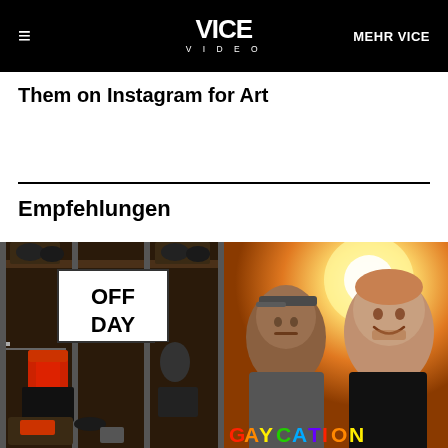≡  VICE VIDEO  MEHR VICE
Them on Instagram for Art
Empfehlungen
[Figure (photo): Hockey locker room with sports equipment, skates hanging, red hockey gear, and a sign reading OFF DAY]
[Figure (photo): Two people smiling in sunlight, with GAYCATION text at the bottom in rainbow letters]